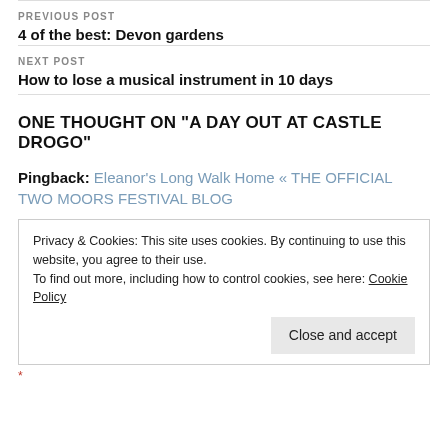PREVIOUS POST
4 of the best: Devon gardens
NEXT POST
How to lose a musical instrument in 10 days
ONE THOUGHT ON “A DAY OUT AT CASTLE DROGO”
Pingback: Eleanor’s Long Walk Home « THE OFFICIAL TWO MOORS FESTIVAL BLOG
Privacy & Cookies: This site uses cookies. By continuing to use this website, you agree to their use.
To find out more, including how to control cookies, see here: Cookie Policy
Close and accept
*